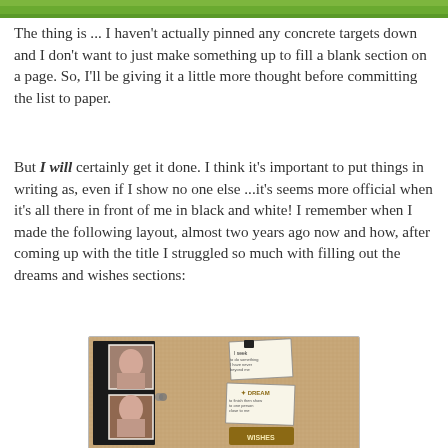[Figure (photo): Top decorative image strip, green/nature themed]
The thing is ... I haven't actually pinned any concrete targets down and I don't want to just make something up to fill a blank section on a page. So, I'll be giving it a little more thought before committing the list to paper.
But I will certainly get it done. I think it's important to put things in writing as, even if I show no one else ...it's seems more official when it's all there in front of me in black and white! I remember when I made the following layout, almost two years ago now and how, after coming up with the title I struggled so much with filling out the dreams and wishes sections:
[Figure (photo): Scrapbook layout featuring two portrait photos of a woman with pearl necklace on a burlap/textured background with handwritten dream, wishes, and seek journaling cards in black and gold tones.]